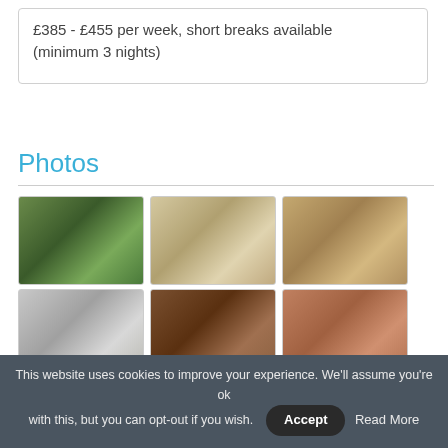£385 - £455 per week, short breaks available (minimum 3 nights)
Photos
[Figure (photo): Grid of 8 property photos: exterior garden, kitchen, bedroom, bathroom, sitting room with fireplace, living room with sofa, wood-burning stove, kitchen interior]
This website uses cookies to improve your experience. We'll assume you're ok with this, but you can opt-out if you wish. Accept Read More